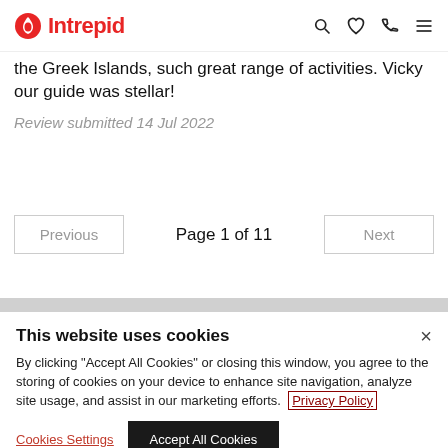Intrepid
the Greek Islands, such great range of activities. Vicky our guide was stellar!
Review submitted 14 Jul 2022
Previous   Page 1 of 11   Next
This website uses cookies
By clicking "Accept All Cookies" or closing this window, you agree to the storing of cookies on your device to enhance site navigation, analyze site usage, and assist in our marketing efforts.  Privacy Policy
Cookies Settings   Accept All Cookies